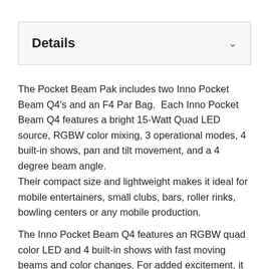Details
The Pocket Beam Pak includes two Inno Pocket Beam Q4's and an F4 Par Bag.  Each Inno Pocket Beam Q4 features a bright 15-Watt Quad LED source, RGBW color mixing, 3 operational modes, 4 built-in shows, pan and tilt movement, and a 4 degree beam angle.
Their compact size and lightweight makes it ideal for mobile entertainers, small clubs, bars, roller rinks, bowling centers or any mobile production.
The Inno Pocket Beam Q4 features an RGBW quad color LED and 4 built-in shows with fast moving beams and color changes. For added excitement, it